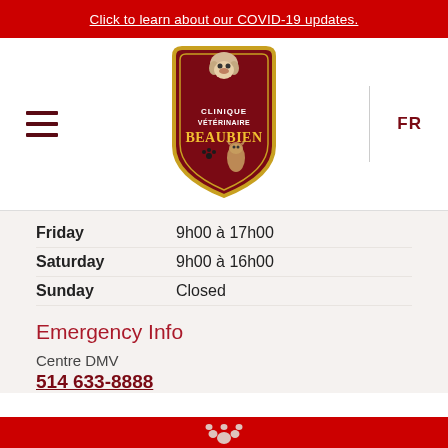Click to learn about our COVID-19 updates.
[Figure (logo): Clinique Vétérinaire Beaubien logo — shield shape in dark red with gold border, dog above, cat below, paw print, text CLINIQUE VÉTÉRINAIRE BEAUBIEN in gold/white]
Friday   9h00 à 17h00
Saturday   9h00 à 16h00
Sunday   Closed
Emergency Info
Centre DMV
514 633-8888